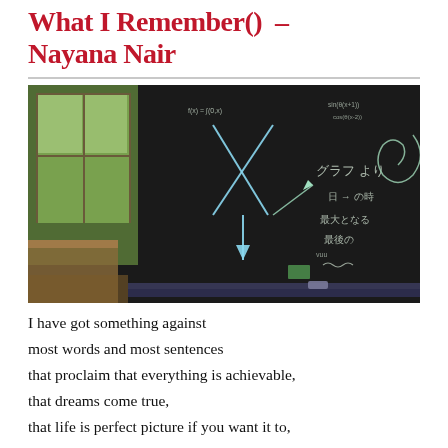What I Remember() – Nayana Nair
[Figure (photo): A classroom scene with a large chalkboard covered in Japanese writing, mathematical diagrams including arrows and geometric drawings, and chalk marks. A window on the left shows green trees outside. School desks are visible in the foreground.]
I have got something against
most words and most sentences
that proclaim that everything is achievable,
that dreams come true,
that life is perfect picture if you want it to,
that everything is in our hands,